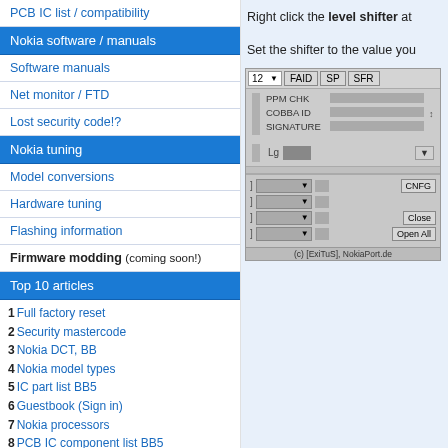PCB IC list / compatibility
Nokia software / manuals
Software manuals
Net monitor / FTD
Lost security code!?
Nokia tuning
Model conversions
Hardware tuning
Flashing information
Firmware modding (coming soon!)
Top 10 articles
1 Full factory reset
2 Security mastercode
3 Nokia DCT, BB
4 Nokia model types
5 IC part list BB5
6 Guestbook (Sign in)
7 Nokia processors
8 PCB IC component list BB5
9 Sitemap
10 FTD displays (Symbian app)
Right click the level shifter at
Set the shifter to the value you
[Figure (screenshot): Nokia tuning software UI dialog showing fields PPM CHK, COBBA ID, SIGNATURE, a Lg dropdown, and buttons CNFG, Close, Open All with dropdown selectors. Bottom shows copyright (c) [ExiTuS], NokiaPort.de]